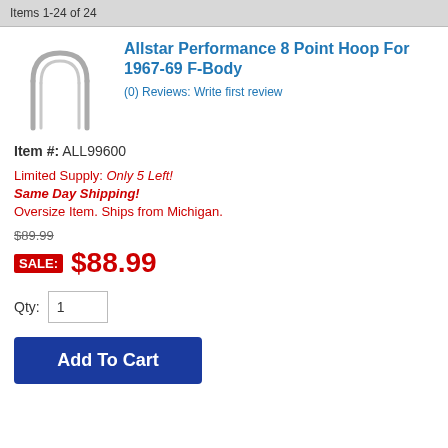Items 1-24 of 24
[Figure (illustration): Product image of an 8-point roll cage hoop, silver/chrome colored metal bar bent into an arch shape with two vertical legs]
Allstar Performance 8 Point Hoop For 1967-69 F-Body
(0) Reviews: Write first review
Item #: ALL99600
Limited Supply: Only 5 Left!
Same Day Shipping!
Oversize Item. Ships from Michigan.
$89.99
SALE: $88.99
Qty: 1
Add To Cart